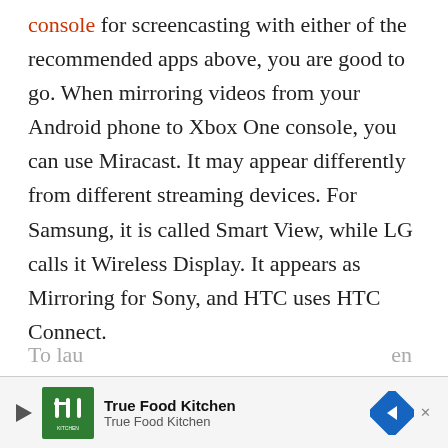console for screencasting with either of the recommended apps above, you are good to go. When mirroring videos from your Android phone to Xbox One console, you can use Miracast. It may appear differently from different streaming devices. For Samsung, it is called Smart View, while LG calls it Wireless Display. It appears as Mirroring for Sony, and HTC uses HTC Connect.

Now the process to cast video content to your Xbox One varies depending on the brand of Android device you use. For instance, you need to swipe your three fingers to access HTC Connect.
[Figure (other): Advertisement banner for True Food Kitchen showing logo, name, and navigation arrow icon]